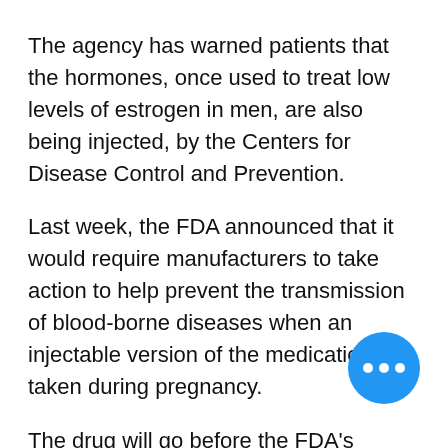The agency has warned patients that the hormones, once used to treat low levels of estrogen in men, are also being injected, by the Centers for Disease Control and Prevention.
Last week, the FDA announced that it would require manufacturers to take action to help prevent the transmission of blood-borne diseases when an injectable version of the medication is taken during pregnancy.
The drug will go before the FDA's advisory committee for additional review later this month.
SN
— je suis en essai bb2 depuis ce cycle-ci. Aujourd'hui, je suis à 9 dpo, et il y a 1h allant aux toilettes, j'ai remarqué que je saignais un. — spotting 8dpo and 9dpo and